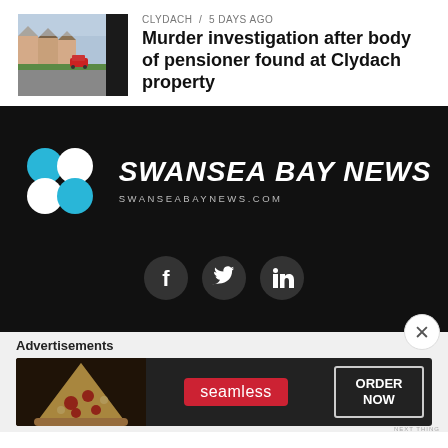[Figure (photo): Street view thumbnail of a residential road in Clydach with houses and a parked red car]
CLYDACH / 5 days ago
Murder investigation after body of pensioner found at Clydach property
[Figure (logo): Swansea Bay News logo — four dots (white and cyan) in a 2x2 grid, next to bold italic text SWANSEA BAY NEWS and URL swanseabaynews.com, on a black background with Facebook, Twitter, LinkedIn social icons below]
Advertisements
[Figure (screenshot): Seamless food delivery advertisement banner showing pizza on the left, seamless brand name in red, and ORDER NOW button on right]